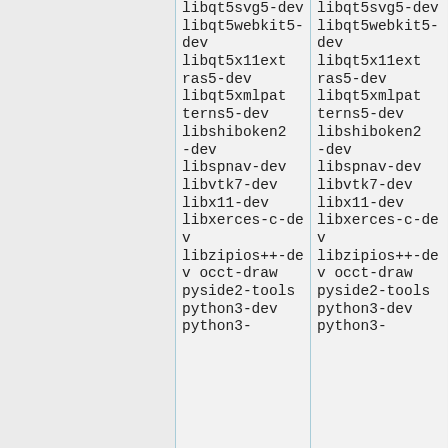libqt5svg5-dev libqt5webkit5-dev libqt5x11extras5-dev libqt5xmlpatterns5-dev libshiboken2-dev libspnav-dev libvtk7-dev libx11-dev libxerces-c-dev libzipios++-dev occt-draw pyside2-tools python3-dev python3-
libqt5svg5-dev libqt5webkit5-dev libqt5x11extras5-dev libqt5xmlpatterns5-dev libshiboken2-dev libspnav-dev libvtk7-dev libx11-dev libxerces-c-dev libzipios++-dev occt-draw pyside2-tools python3-dev python3-